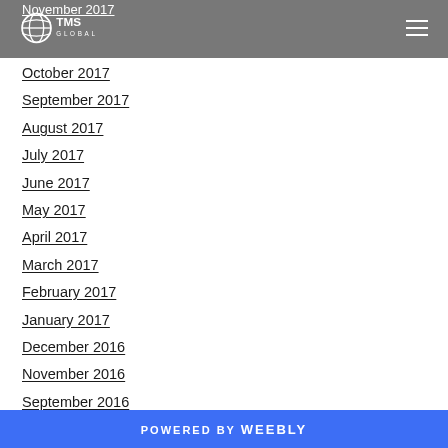TMS GLOBAL
November 2017
October 2017
September 2017
August 2017
July 2017
June 2017
May 2017
April 2017
March 2017
February 2017
January 2017
December 2016
November 2016
September 2016
July 2016
May 2016
April 2016
POWERED BY weebly